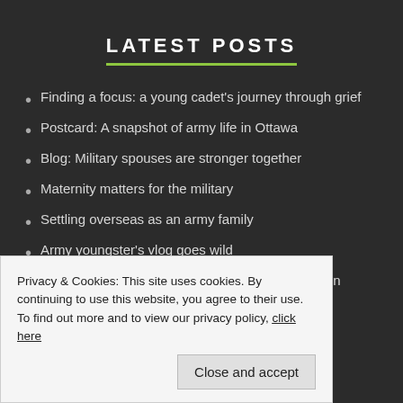LATEST POSTS
Finding a focus: a young cadet's journey through grief
Postcard: A snapshot of army life in Ottawa
Blog: Military spouses are stronger together
Maternity matters for the military
Settling overseas as an army family
Army youngster's vlog goes wild
A word from: AFF chief exec Collette Musgrave on spousal employment
A little help with your childcare costs
Privacy & Cookies: This site uses cookies. By continuing to use this website, you agree to their use. To find out more and to view our privacy policy, click here